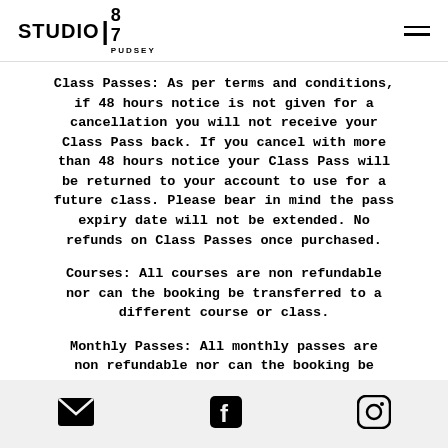STUDIO 87 PUDSEY
Class Passes: As per terms and conditions, if 48 hours notice is not given for a cancellation you will not receive your Class Pass back. If you cancel with more than 48 hours notice your Class Pass will be returned to your account to use for a future class. Please bear in mind the pass expiry date will not be extended. No refunds on Class Passes once purchased.
Courses: All courses are non refundable nor can the booking be transferred to a different course or class.
Monthly Passes: All monthly passes are non refundable nor can the booking be transferred to a different class or course.
Email, Facebook, Instagram icons